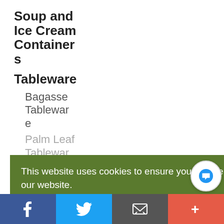Soup and Ice Cream Containers
Tableware
Bagasse Tableware
Palm Leaf Tableware
Bon
Appetit
This website uses cookies to ensure you get the best experience on our website. Learn more
Got it!